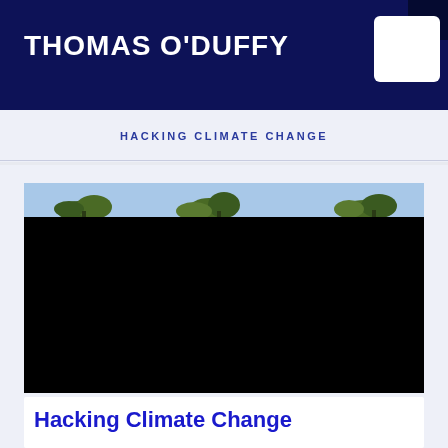THOMAS O'DUFFY
HACKING CLIMATE CHANGE
[Figure (photo): Photograph showing a landscape with a blue sky strip and tree silhouettes at the top, and a large black area below representing a dark field or video thumbnail.]
Hacking Climate Change